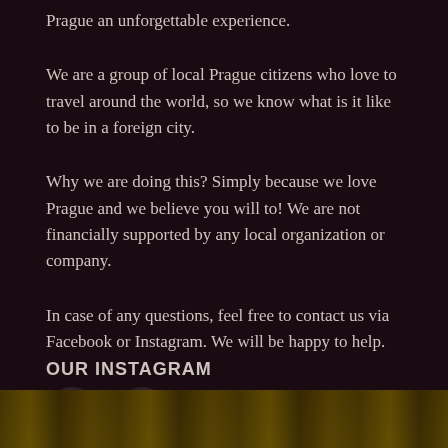Prague an unforgettable experience.
We are a group of local Prague citizens who love to travel around the world, so we know what is it like to be in a foreign city.
Why we are doing this? Simply because we love Prague and we believe you will to! We are not financially supported by any local organization or company.
In case of any questions, feel free to contact us via Facebook or Instagram. We will be happy to help.
[Figure (illustration): Two circular social media icon buttons: Facebook (f) and Instagram (camera icon), dark rounded circles on dark background]
OUR INSTAGRAM
[Figure (photo): Bottom strip showing a photo with green/golden foliage or plants, partially visible]